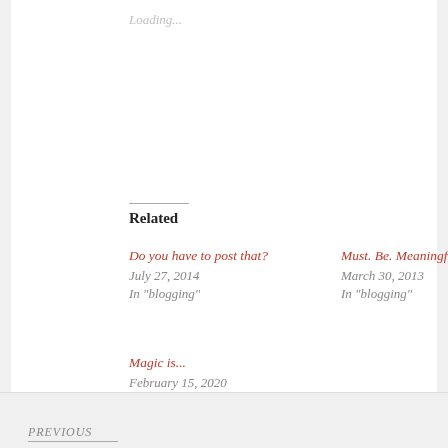Loading...
Related
Do you have to post that?
July 27, 2014
In "blogging"
Must. Be. Meaningful.
March 30, 2013
In "blogging"
Magic is...
February 15, 2020
In "art"
PREVIOUS